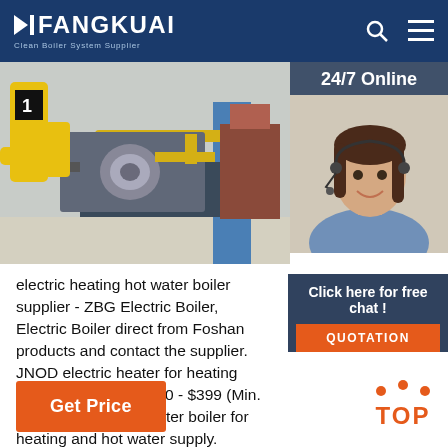FANGKUAI - Clean Boiler System Supplier
[Figure (photo): Industrial boiler/heating equipment room with yellow pipes, machinery, and a blue pillar]
[Figure (photo): 24/7 Online customer service agent woman with headset smiling]
electric heating hot water boiler supplier - ZBG Electric Boiler, Electric Boiler direct from Foshan products and contact the supplier. JNOD electric heater for heating and hot water. $190.00 - $399 (Min. Order) Electric hot water boiler for heating and hot water supply. $337.90 - $354.80 Piece. 30 Pieces (Min. Order) GET A QUOTE.
Click here for free chat !
QUOTATION
Get Price